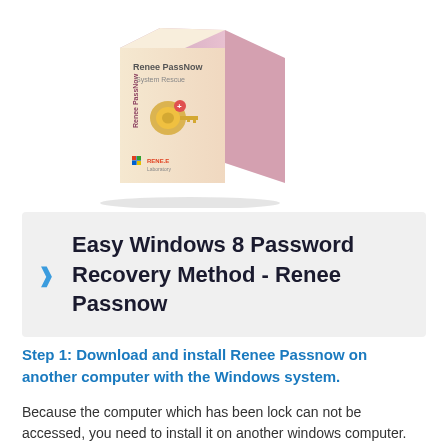[Figure (illustration): Product box image for Renee PassNow System Rescue software, showing a 3D box with a gold key icon, Windows logo, and RENE.E Laboratory branding on a gradient background.]
Easy Windows 8 Password Recovery Method - Renee Passnow
Step 1: Download and install Renee Passnow on another computer with the Windows system.
Because the computer which has been lock can not be accessed, you need to install it on another windows computer.